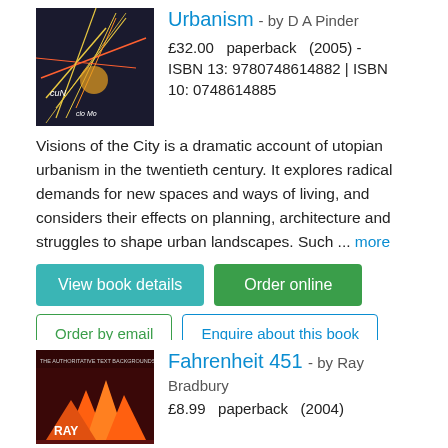[Figure (photo): Book cover for Visions of the City / Urbanism - abstract colorful lines on dark background]
Urbanism - by D A Pinder
£32.00   paperback   (2005) - ISBN 13: 9780748614882 | ISBN 10: 0748614885
Visions of the City is a dramatic account of utopian urbanism in the twentieth century. It explores radical demands for new spaces and ways of living, and considers their effects on planning, architecture and struggles to shape urban landscapes. Such ... more
View book details
Order online
Order by email
Enquire about this book
[Figure (photo): Book cover for Fahrenheit 451 - flames and dark red background with RAY text]
Fahrenheit 451 - by Ray Bradbury
£8.99   paperback   (2004)